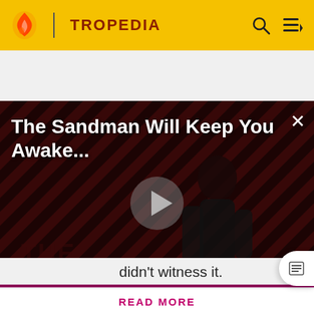[Figure (screenshot): Tropedia website header with flame logo, TROPEDIA brand name, search icon, and menu icon on yellow background]
[Figure (screenshot): Video player panel with dark striped background showing a figure in black, THE LOOP logo, play button, title 'The Sandman Will Keep You Awake...' and NaN:NaN timestamp badge]
didn't witness it.
Before making a single edit, Tropedia EXPECTS our site policy and manual of style to be followed. Failure to do so may
READ MORE